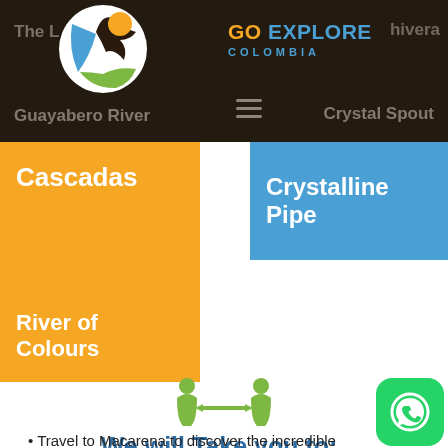[Figure (screenshot): Go Explore Colombia website screenshot showing navigation bar with logo, brand name, and partial page content with orange and blue tiles]
Cascadas
River of Colours
Crystalline Pipe
[Figure (illustration): Green icon of two people facing each other with a double-headed arrow between them]
We will Take you to:
Travel to Macarena to discover the incredible